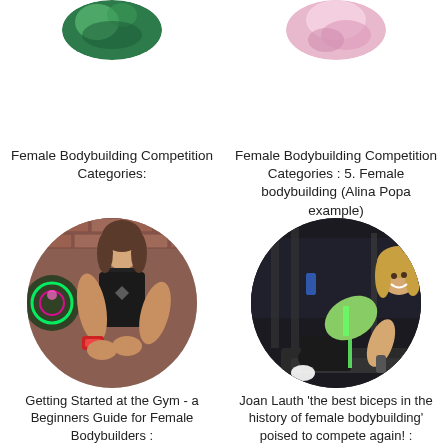[Figure (photo): Circular cropped photo - top left, female bodybuilding related, green/dark background]
Female Bodybuilding Competition Categories:
[Figure (photo): Circular cropped photo - top right, female bodybuilding related, pink/light background]
Female Bodybuilding Competition Categories : 5. Female bodybuilding (Alina Popa example)
[Figure (photo): Circular photo of a muscular female bodybuilder in black sports bra and red watch, against brick wall background with neon rose]
Getting Started at the Gym - a Beginners Guide for Female Bodybuilders :
[Figure (photo): Circular photo of Joan Lauth, blonde woman doing dumbbell rows in gym, wearing green sports outfit]
Joan Lauth 'the best biceps in the history of female bodybuilding' poised to compete again! :